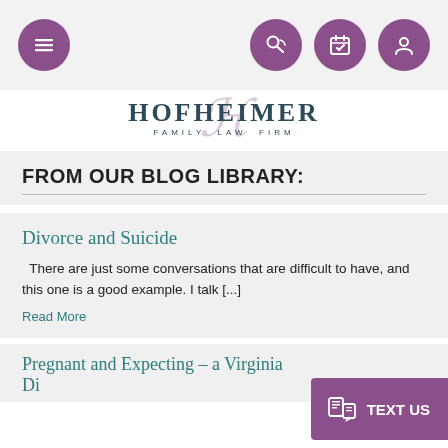[Figure (screenshot): Mobile website navigation bar with hamburger menu icon and three circular purple icons (phone, calendar, profile) on the right]
[Figure (logo): Hofheimer Family Law Firm logo with stylized H script overlay and teal/dark blue text]
FROM OUR BLOG LIBRARY:
Divorce and Suicide
There are just some conversations that are difficult to have, and this one is a good example. I talk [...]
Read More
Pregnant and Expecting – a Virginia Di…